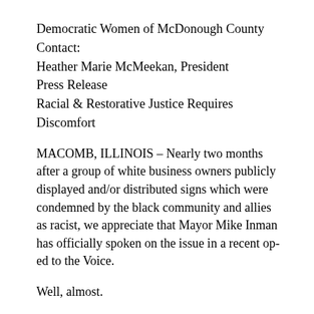Democratic Women of McDonough County
Contact:
Heather Marie McMeekan, President
Press Release
Racial & Restorative Justice Requires Discomfort
MACOMB, ILLINOIS – Nearly two months after a group of white business owners publicly displayed and/or distributed signs which were condemned by the black community and allies as racist, we appreciate that Mayor Mike Inman has officially spoken on the issue in a recent op-ed to the Voice.
Well, almost.
It would be hard for anyone who has not been closely following the events in Macomb surrounding the signs to understand the context of the Mayor's letter or what may have caused this sudden